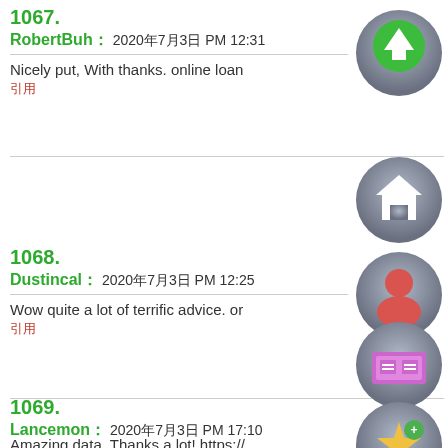1067.
RobertBuh : 2020年7月3日 PM 12:31
Nicely put, With thanks. online loan
引用
1068.
Dustincal : 2020年7月3日 PM 12:25
Wow quite a lot of terrific advice. or
引用
1069.
Lancemon : 2020年7月3日 PM 17:10
Amazing data, Thanks a lot! https://...